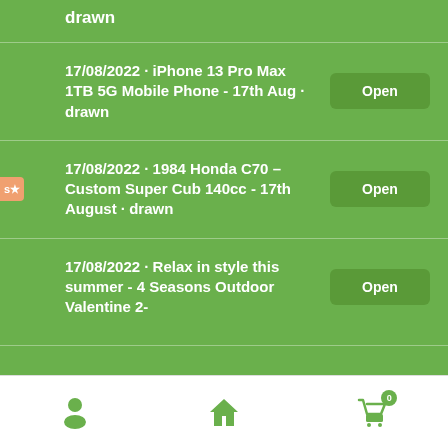drawn
17/08/2022 · iPhone 13 Pro Max 1TB 5G Mobile Phone - 17th Aug · drawn
17/08/2022 · 1984 Honda C70 – Custom Super Cub 140cc - 17th August · drawn
17/08/2022 · Relax in style this summer - 4 Seasons Outdoor Valentine 2-